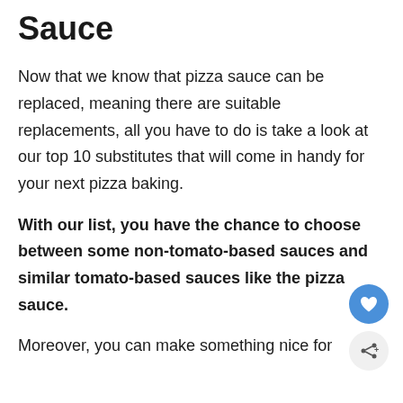Sauce
Now that we know that pizza sauce can be replaced, meaning there are suitable replacements, all you have to do is take a look at our top 10 substitutes that will come in handy for your next pizza baking.
With our list, you have the chance to choose between some non-tomato-based sauces and similar tomato-based sauces like the pizza sauce.
Moreover, you can make something nice for